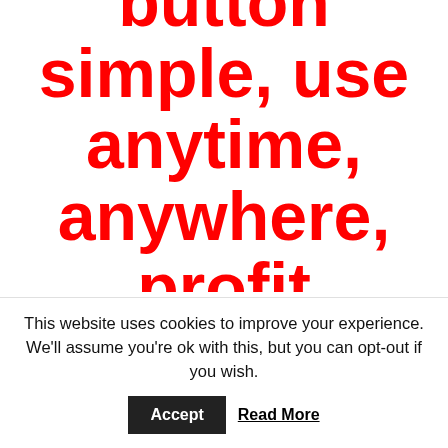button simple, use anytime, anywhere, profit pumping machine...
Finally, you can
This website uses cookies to improve your experience. We'll assume you're ok with this, but you can opt-out if you wish.